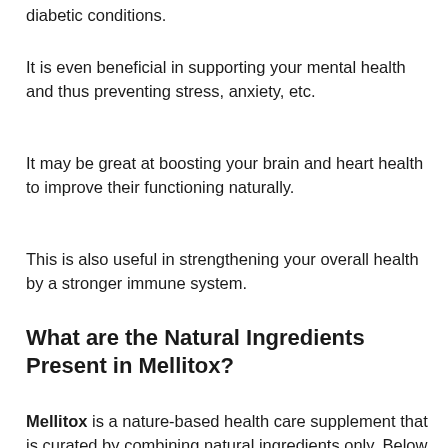diabetic conditions.
It is even beneficial in supporting your mental health and thus preventing stress, anxiety, etc.
It may be great at boosting your brain and heart health to improve their functioning naturally.
This is also useful in strengthening your overall health by a stronger immune system.
What are the Natural Ingredients Present in Mellitox?
Mellitox is a nature-based health care supplement that is curated by combining natural ingredients only. Below is a detailed list of the